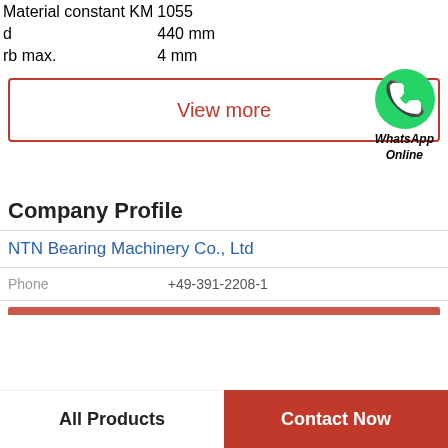|  |  |
| --- | --- |
| Material constant KM | 1055 |
| d | 440 mm |
| rb max. | 4 mm |
View more
[Figure (illustration): WhatsApp green phone icon with label 'WhatsApp Online']
Company Profile
NTN Bearing Machinery Co., Ltd
Phone  +49-391-2208-1
All Products
Contact Now